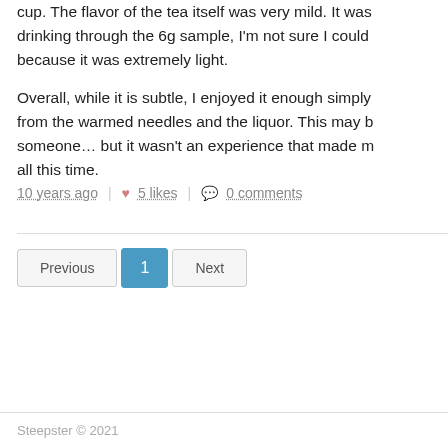cup. The flavor of the tea itself was very mild. It was drinking through the 6g sample, I'm not sure I could because it was extremely light.
Overall, while it is subtle, I enjoyed it enough simply from the warmed needles and the liquor. This may b someone… but it wasn't an experience that made m all this time.
10 years ago | 5 likes | 0 comments
Previous
1
Next
Steepster © 2021